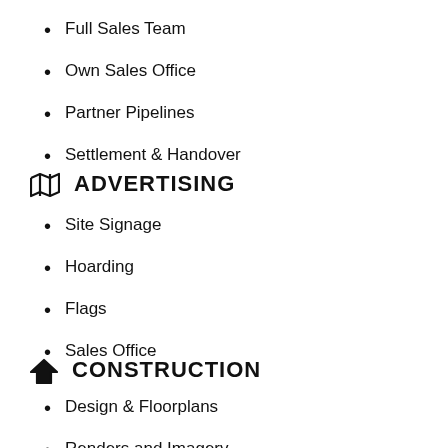Full Sales Team
Own Sales Office
Partner Pipelines
Settlement & Handover
ADVERTISING
Site Signage
Hoarding
Flags
Sales Office
CONSTRUCTION
Design & Floorplans
Renders and Imagery
Property Flyers & Brochures